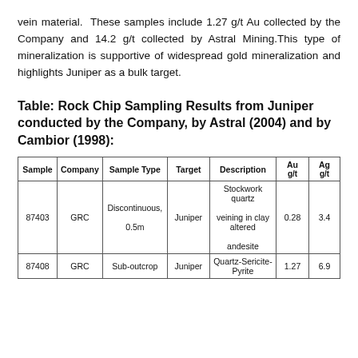vein material. These samples include 1.27 g/t Au collected by the Company and 14.2 g/t collected by Astral Mining.This type of mineralization is supportive of widespread gold mineralization and highlights Juniper as a bulk target.
Table: Rock Chip Sampling Results from Juniper conducted by the Company, by Astral (2004) and by Cambior (1998):
| Sample | Company | Sample Type | Target | Description | Au g/t | Ag g/t |
| --- | --- | --- | --- | --- | --- | --- |
| 87403 | GRC | Discontinuous, 0.5m | Juniper | Stockwork quartz veining in clay altered andesite | 0.28 | 3.4 |
| 87408 | GRC | Sub-outcrop | Juniper | Quartz-Sericite-Pyrite | 1.27 | 6.9 |